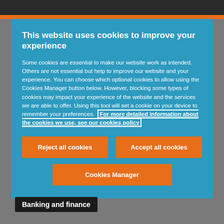This website uses cookies to improve your experience
Some cookies are essential to make our website work as intended. Others are not essential but help to improve our website and your experience. You can choose which optional cookies to allow using the Cookies Manager button below. However, blocking some types of cookies may impact your experience of the website and the services we are able to offer. Using this tool will set a cookie on your device to remember your preferences. For more detailed information about the cookies we use, see our cookies policy
Reject all cookies
Accept all cookies
Cookies Manager
Banking and finance